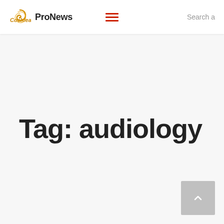Cochlear ProNews
Tag: audiology